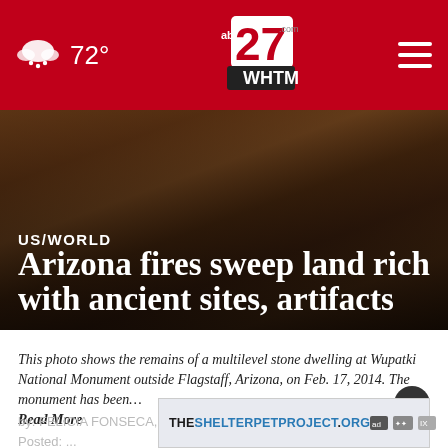72° | abc27 WHTM | ≡
[Figure (photo): Hero image of dark rocky landscape/ancient stone ruins, with text overlay showing 'US/WORLD' and headline 'Arizona fires sweep land rich with ancient sites, artifacts']
This photo shows the remains of a multilevel stone dwelling at Wupatki National Monument outside Flagstaff, Arizona, on Feb. 17, 2014. The monument has been… Read More
by: FELICIA FONSECA, Associated Press
Posted: ...
Updated: ...
[Figure (screenshot): Ad banner: THESHELTERPETPROJECT.ORG with ad icons]